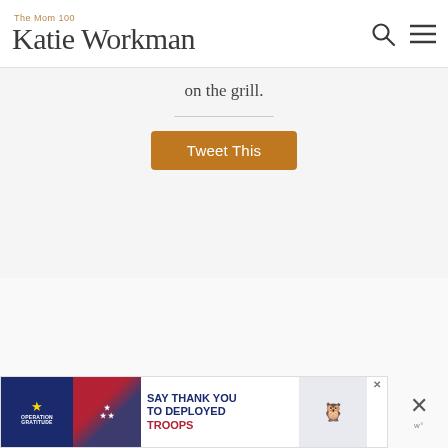The Mom 100 Katie Workman
on the grill.
Tweet This
[Figure (photo): Slideshow image area with three navigation dots, large grey placeholder area]
[Figure (infographic): Advertisement banner: Operation Gratitude - SAY THANK YOU TO DEPLOYED TROOPS with patriotic imagery and owl mascot]